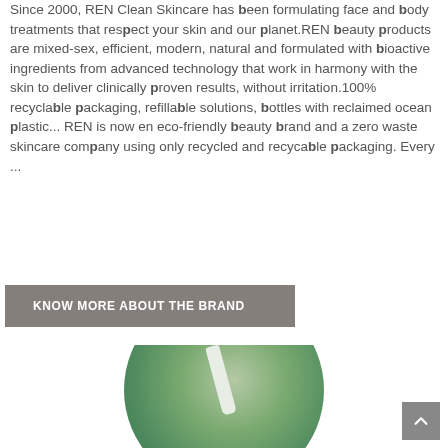Since 2000, REN Clean Skincare has been formulating face and body treatments that respect your skin and our planet.REN beauty products are mixed-sex, efficient, modern, natural and formulated with bioactive ingredients from advanced technology that work in harmony with the skin to deliver clinically proven results, without irritation.100% recyclable packaging, refillable solutions, bottles with reclaimed ocean plastic... REN is now en eco-friendly beauty brand and a zero waste skincare company using only recycled and recycable packaging. Every ...
KNOW MORE ABOUT THE BRAND
[Figure (photo): Circular photo showing green botanical background with a white skincare product tube]